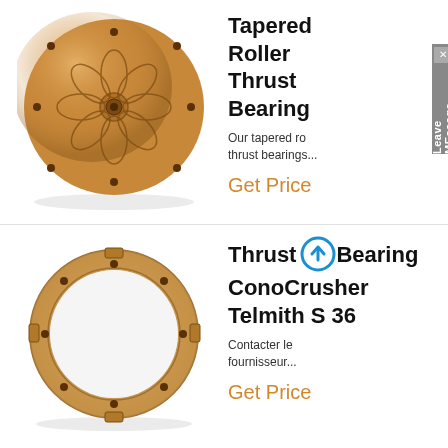[Figure (photo): Copper/bronze tapered roller thrust bearing disc with petal-shaped grooves and center hole, top-down view]
Tapered Roller Thrust Bearing
Our tapered ro thrust bearings...
Get Price
[Figure (photo): Copper/bronze ring-shaped thrust bearing (Cono Crusher type) with notches and bolt holes, flat ring view]
Thrust Bearing Cono Crusher Telmith S 36
Contacter le fournisseur...
Get Price